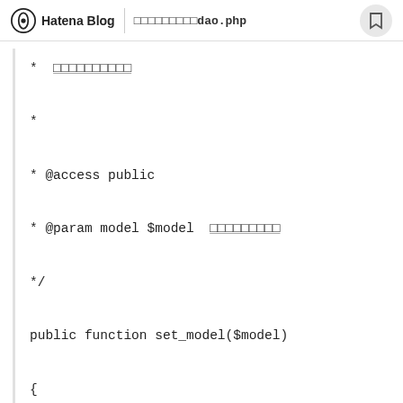Hatena Blog | （日本語文字列）dao.php
* （日本語テキスト）
 *
 * @access public
 * @param model $model （日本語テキスト）
 */
public function set_model($model)
{